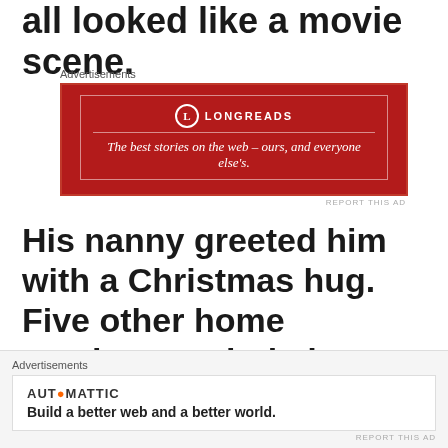all looked like a movie scene.
[Figure (screenshot): Longreads advertisement banner: red background with white border, Longreads logo and text 'The best stories on the web – ours, and everyone else's.']
His nanny greeted him with a Christmas hug. Five other home employees circled around smiling and welcoming watching a child enjoy Christmas. Wayne looked around the room. “Where is
[Figure (screenshot): Automattic advertisement banner: white background with Automattic logo and text 'Build a better web and a better world.']